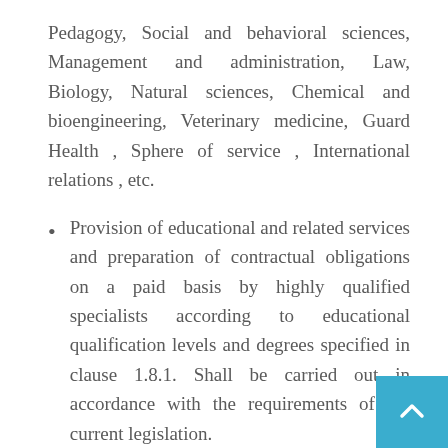Pedagogy, Social and behavioral sciences, Management and administration, Law, Biology, Natural sciences, Chemical and bioengineering, Veterinary medicine, Guard Health , Sphere of service , International relations , etc.
Provision of educational and related services and preparation of contractual obligations on a paid basis by highly qualified specialists according to educational qualification levels and degrees specified in clause 1.8.1. Shall be carried out in accordance with the requirements of the current legislation.
Other financial, economic and commercial activities carried out, including: